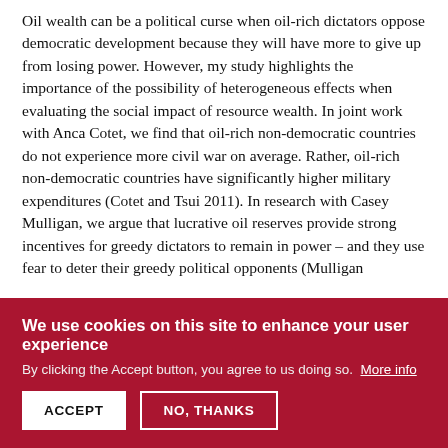Oil wealth can be a political curse when oil-rich dictators oppose democratic development because they will have more to give up from losing power. However, my study highlights the importance of the possibility of heterogeneous effects when evaluating the social impact of resource wealth. In joint work with Anca Cotet, we find that oil-rich non-democratic countries do not experience more civil war on average. Rather, oil-rich non-democratic countries have significantly higher military expenditures (Cotet and Tsui 2011). In research with Casey Mulligan, we argue that lucrative oil reserves provide strong incentives for greedy dictators to remain in power – and they use fear to deter their greedy political opponents (Mulligan
We use cookies on this site to enhance your user experience
By clicking the Accept button, you agree to us doing so. More info
ACCEPT   NO, THANKS